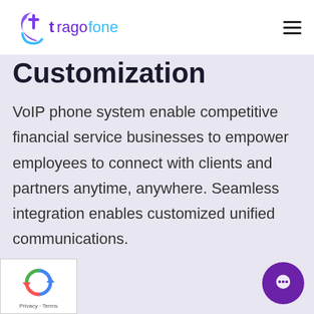tragofone — navigation header with logo and hamburger menu
Customization
VoIP phone system enable competitive financial service businesses to empower employees to connect with clients and partners anytime, anywhere. Seamless integration enables customized unified communications.
[Figure (logo): reCAPTCHA Privacy - Terms badge in bottom left corner]
[Figure (other): Purple circular chat button in bottom right corner]